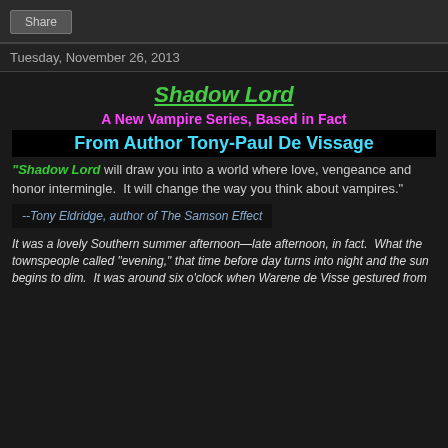Share
Tuesday, November 26, 2013
Shadow Lord
A New Vampire Series, Based in Fact
From Author Tony-Paul De Vissage
“Shadow Lord will draw you into a world where love, vengeance and honor intermingle.  It will change the way you think about vampires.”
--Tony Eldridge, author of The Samson Effect
It was a lovely Southern summer afternoon—late afternoon, in fact.  What the townspeople called “evening,” that time before day turns into night and the sun begins to dim.  It was around six o’clock when Warene de Visse gestured from